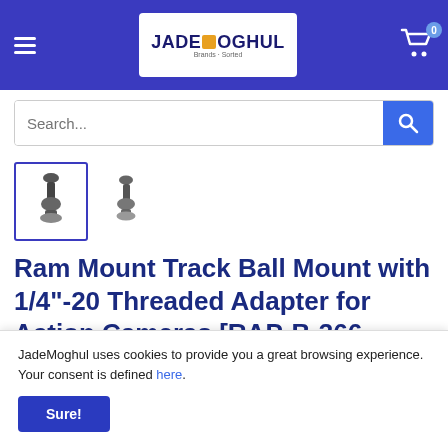JadeMoghul — navigation header with logo, hamburger menu, and cart
[Figure (screenshot): Search bar with text 'Search...' and blue search button]
[Figure (photo): Two product thumbnail images of a Ram Mount Track Ball Mount device — first selected with blue border]
Ram Mount Track Ball Mount with 1/4"-20 Threaded Adapter for Action Cameras [RAP-B-366-
JadeMoghul uses cookies to provide you a great browsing experience. Your consent is defined here.
Sure!